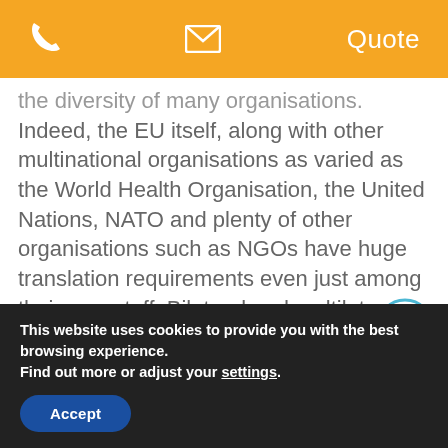📞  ✉  Quote
the diversity of many organisations. Indeed, the EU itself, along with other multinational organisations as varied as the World Health Organisation, the United Nations, NATO and plenty of other organisations such as NGOs have huge translation requirements even just among their own staff. Bilateral and multilateral free-trade agreements proliferate, facilitated by organisations such as the World
This website uses cookies to provide you with the best browsing experience.
Find out more or adjust your settings.
Accept